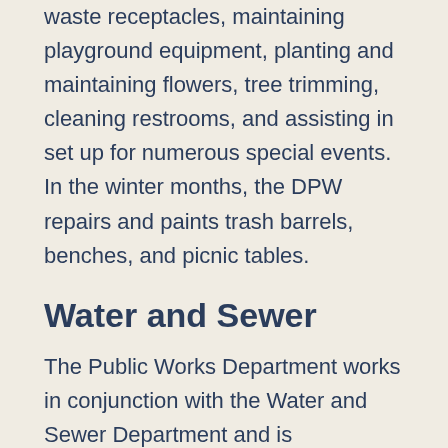waste receptacles, maintaining playground equipment, planting and maintaining flowers, tree trimming, cleaning restrooms, and assisting in set up for numerous special events. In the winter months, the DPW repairs and paints trash barrels, benches, and picnic tables.
Water and Sewer
The Public Works Department works in conjunction with the Water and Sewer Department and is responsible for providing reliable potable water for the Village's residents and businesses, and also maintaining the wastewater collection system for transmission to the wastewater